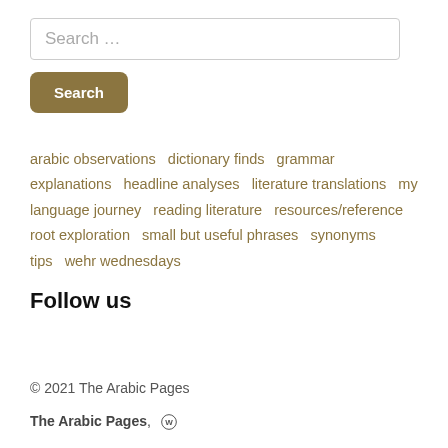Search …
Search
arabic observations  dictionary finds  grammar explanations  headline analyses  literature translations  my language journey  reading literature  resources/reference  root exploration  small but useful phrases  synonyms  tips  wehr wednesdays
Follow us
© 2021 The Arabic Pages
The Arabic Pages, [WordPress]